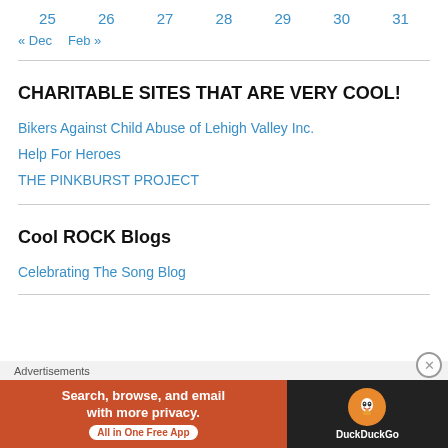25  26  27  28  29  30  31
« Dec   Feb »
CHARITABLE SITES THAT ARE VERY COOL!
Bikers Against Child Abuse of Lehigh Valley Inc.
Help For Heroes
THE PINKBURST PROJECT
Cool ROCK Blogs
Celebrating The Song Blog
[Figure (screenshot): DuckDuckGo advertisement banner: orange background with text 'Search, browse, and email with more privacy. All in One Free App' and DuckDuckGo logo on dark background]